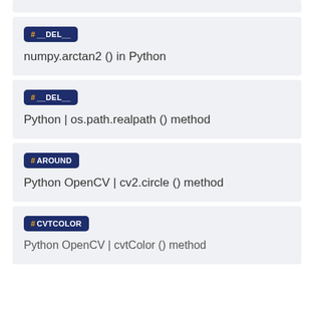#__DEL__
numpy.arctan2 () in Python
#__DEL__
Python | os.path.realpath () method
#AROUND
Python OpenCV | cv2.circle () method
#CVTCOLOR
Python OpenCV | cvtColor () method